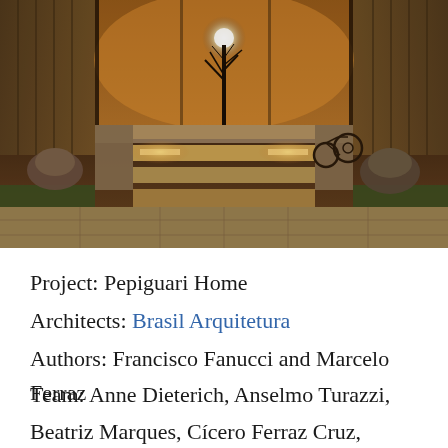[Figure (photo): Exterior night/evening photo of Pepiguari Home showing illuminated concrete steps with embedded lighting leading up to a modern building interior. Bamboo fencing on sides, bare tree in center background, warm interior lighting visible, bicycle and stone sculptures visible.]
Project: Pepiguari Home
Architects: Brasil Arquitetura
Authors: Francisco Fanucci and Marcelo Ferraz
Team: Anne Dieterich, Anselmo Turazzi, Beatriz Marques, Cícero Ferraz Cruz, Fabiana